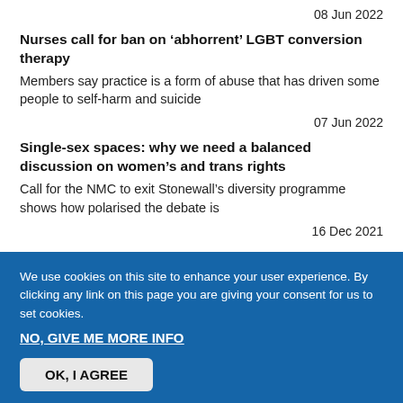08 Jun 2022
Nurses call for ban on ‘abhorrent’ LGBT conversion therapy
Members say practice is a form of abuse that has driven some people to self-harm and suicide
07 Jun 2022
Single-sex spaces: why we need a balanced discussion on women’s and trans rights
Call for the NMC to exit Stonewall’s diversity programme shows how polarised the debate is
16 Dec 2021
We use cookies on this site to enhance your user experience. By clicking any link on this page you are giving your consent for us to set cookies.
NO, GIVE ME MORE INFO
OK, I AGREE